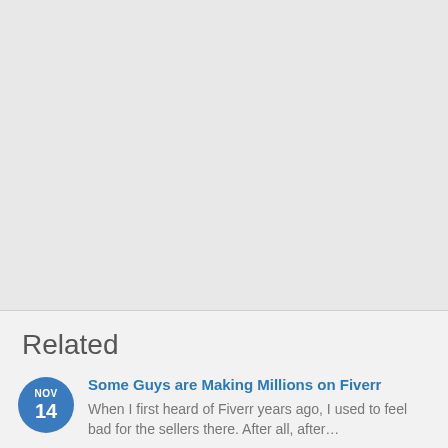[Figure (other): Large light gray empty area, likely an advertisement or image placeholder]
Related
Some Guys are Making Millions on Fiverr
When I first heard of Fiverr years ago, I used to feel bad for the sellers there. After all, after…